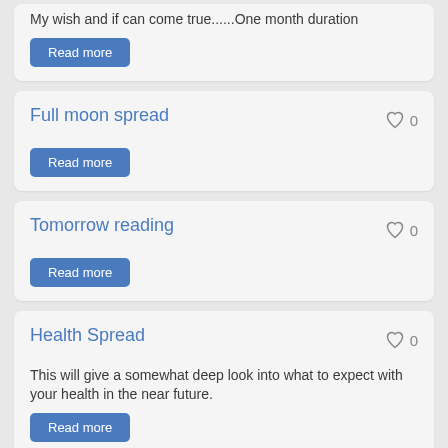My wish and if can come true......One month duration
Read more
Full moon spread
Read more
Tomorrow reading
Read more
Health Spread
This will give a somewhat deep look into what to expect with your health in the near future.
Read more